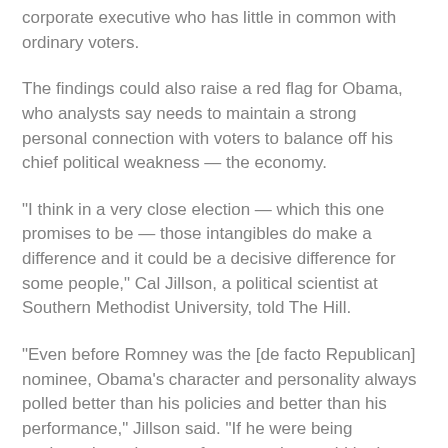corporate executive who has little in common with ordinary voters.
The findings could also raise a red flag for Obama, who analysts say needs to maintain a strong personal connection with voters to balance off his chief political weakness — the economy.
“I think in a very close election — which this one promises to be — those intangibles do make a difference and it could be a decisive difference for some people,” Cal Jillson, a political scientist at Southern Methodist University, told The Hill.
“Even before Romney was the [de facto Republican] nominee, Obama’s character and personality always polled better than his policies and better than his performance,” Jillson said. “If he were being evaluated purely on performance, he would be in great difficulty.”
The poll found 93 percent of voters consider